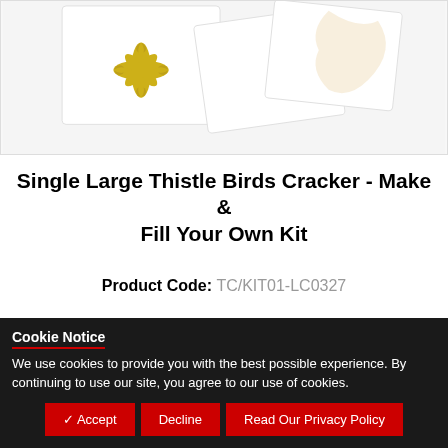[Figure (photo): Product photo showing white crackers with gold thistle/floral foil design pattern]
Single Large Thistle Birds Cracker - Make & Fill Your Own Kit
Product Code: TC/KIT01-LC0327
£2.96
Cookie Notice
We use cookies to provide you with the best possible experience. By continuing to use our site, you agree to our use of cookies.
✓ Accept | Decline | Read Our Privacy Policy